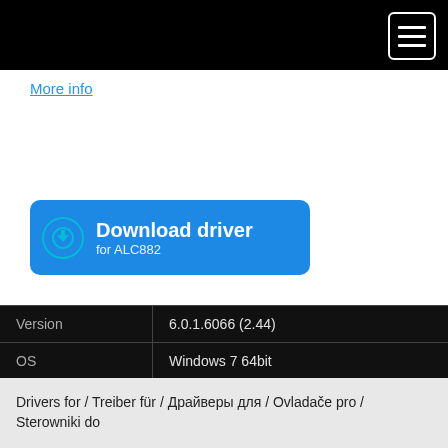[Navigation bar with hamburger menu]
More info
[Figure (other): Blue download button with download icon, text 'Download driver for ALC882']
| Field | Value |
| --- | --- |
| Version | 6.0.1.6066 (2.44) |
| OS | Windows 7 64bit |
| Release | 2010-03-14 [March '10] |
| Status | WHQL signature |
| File | vista_win7_r244.exe |
| Downloaded | 6497× |
Drivers for / Treiber für / Драйверы для / Ovladače pro / Sterowniki do